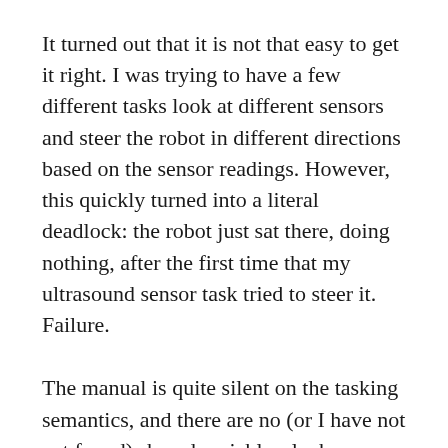It turned out that it is not that easy to get it right. I was trying to have a few different tasks look at different sensors and steer the robot in different directions based on the sensor readings. However, this quickly turned into a literal deadlock: the robot just sat there, doing nothing, after the first time that my ultrasound sensor task tried to steer it. Failure.
The manual is quite silent on the tasking semantics, and there are no (or I have not yet found) shared variables, locks, or message-passing mechanisms to synchronize the tasks.
Looking for an answer on the web, I came across a nice tutorial on tasking: